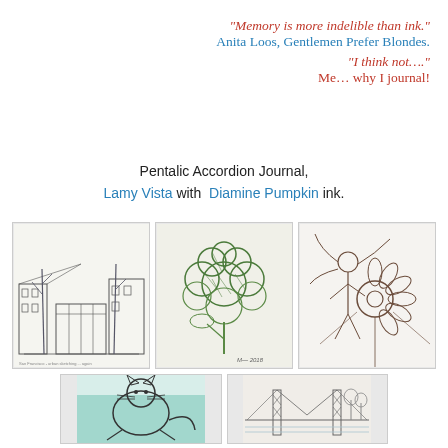“Memory is more indelible than ink.” Anita Loos, Gentlemen Prefer Blondes. “I think not….” Me… why I journal!
Pentalic Accordion Journal, Lamy Vista with Diamine Pumpkin ink.
[Figure (illustration): Ink sketch of a street scene with buildings and bare trees]
[Figure (illustration): Ink sketch of round clustered foliage or cabbages in green ink]
[Figure (illustration): Ink sketch of a flower fairy or girl with large flower]
[Figure (illustration): Ink sketch of a cat with teal watercolor wash]
[Figure (illustration): Ink sketch of a bridge or architectural structure]